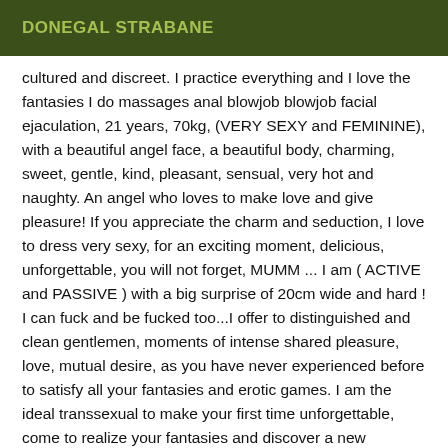DONEGAL STRABANE
cultured and discreet. I practice everything and I love the fantasies I do massages anal blowjob blowjob facial ejaculation, 21 years, 70kg, (VERY SEXY and FEMININE), with a beautiful angel face, a beautiful body, charming, sweet, gentle, kind, pleasant, sensual, very hot and naughty. An angel who loves to make love and give pleasure! If you appreciate the charm and seduction, I love to dress very sexy, for an exciting moment, delicious, unforgettable, you will not forget, MUMM ... I am ( ACTIVE and PASSIVE ) with a big surprise of 20cm wide and hard ! I can fuck and be fucked too...I offer to distinguished and clean gentlemen, moments of intense shared pleasure, love, mutual desire, as you have never experienced before to satisfy all your fantasies and erotic games. I am the ideal transsexual to make your first time unforgettable, come to realize your fantasies and discover a new experience in my company. I receive VIR clients, who like to spend